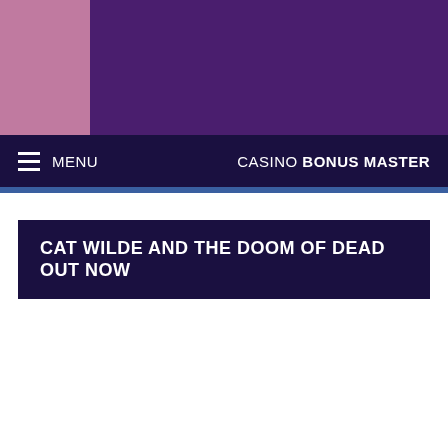[Figure (screenshot): Website header banner with pink/mauve left panel and dark purple right panel background.]
≡ MENU   CASINO BONUS MASTER
CAT WILDE AND THE DOOM OF DEAD OUT NOW